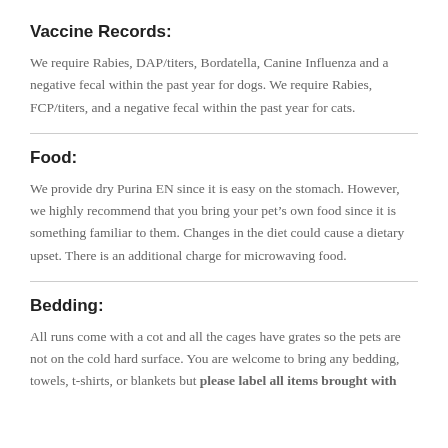Vaccine Records:
We require Rabies, DAP/titers, Bordatella, Canine Influenza and a negative fecal within the past year for dogs. We require Rabies, FCP/titers, and a negative fecal within the past year for cats.
Food:
We provide dry Purina EN since it is easy on the stomach. However, we highly recommend that you bring your pet’s own food since it is something familiar to them. Changes in the diet could cause a dietary upset. There is an additional charge for microwaving food.
Bedding:
All runs come with a cot and all the cages have grates so the pets are not on the cold hard surface. You are welcome to bring any bedding, towels, t-shirts, or blankets but please label all items brought with